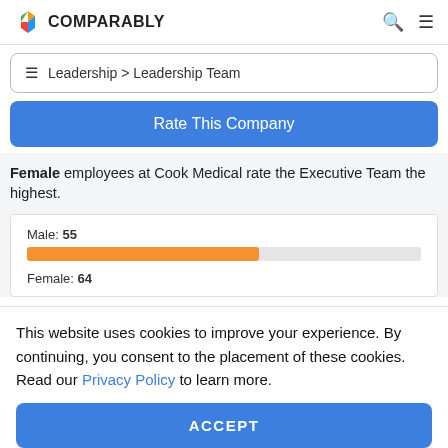COMPARABLY
Leadership > Leadership Team
Rate This Company
Female employees at Cook Medical rate the Executive Team the highest.
[Figure (bar-chart): Male vs Female ratings]
This website uses cookies to improve your experience. By continuing, you consent to the placement of these cookies. Read our Privacy Policy to learn more.
ACCEPT